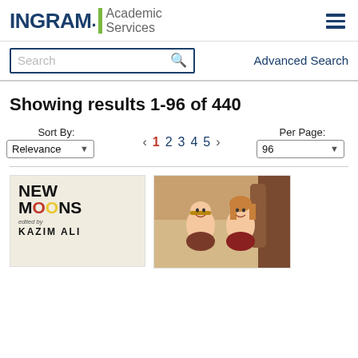[Figure (logo): INGRAM Academic Services logo with green bar separator]
[Figure (other): Hamburger menu icon (three horizontal lines)]
[Figure (other): Search box with magnifying glass icon]
Advanced Search
Showing results 1-96 of 440
Sort By: Relevance [dropdown]
Pagination: < 1 2 3 4 5 >
Per Page: 96 [dropdown]
[Figure (illustration): Book cover: NEW MOONS edited by KAZIM ALI]
[Figure (photo): Photo of two children (boy and girl) in vintage style photo]